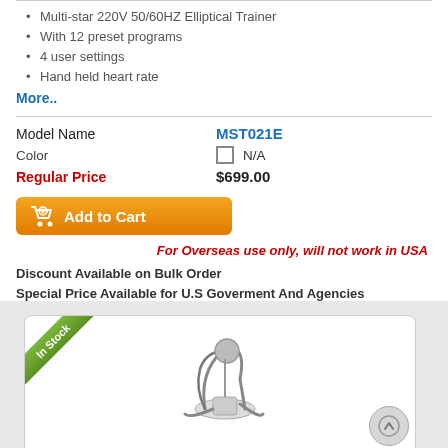Multi-star 220V 50/60HZ Elliptical Trainer
With 12 preset programs
4 user settings
Hand held heart rate
More..
| Field | Value |
| --- | --- |
| Model Name | MST021E |
| Color | N/A |
| Regular Price | $699.00 |
[Figure (other): Orange Add to Cart button with shopping cart icon]
For Overseas use only, will not work in USA
Discount Available on Bulk Order
Special Price Available for U.S Goverment And Agencies
[Figure (photo): Product listing card showing an elliptical trainer with an In Stock ribbon badge in the top-left corner and a scroll-to-top button on the right]